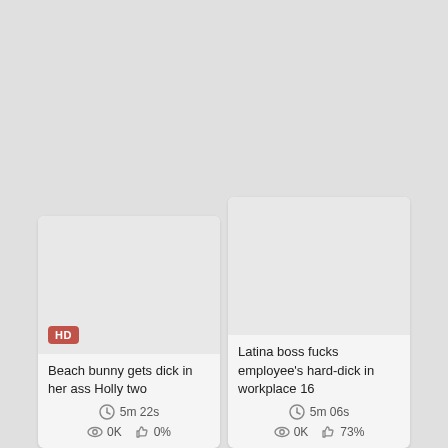[Figure (screenshot): Video thumbnail card 1: gray thumbnail with HD badge, title 'Beach bunny gets dick in her ass Holly two', duration 5m 22s, views 0K, likes 0%]
[Figure (screenshot): Video thumbnail card 2: gray thumbnail, title 'Latina boss fucks employee's hard-dick in workplace 16', duration 5m 06s, views 0K, likes 73%]